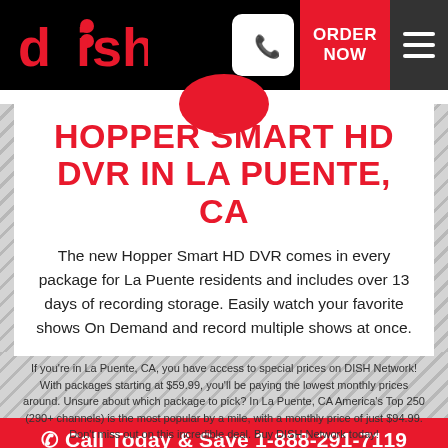DISH — ORDER NOW
HOPPER SMART HD DVR IN LA PUENTE, CA
The new Hopper Smart HD DVR comes in every package for La Puente residents and includes over 13 days of recording storage. Easily watch your favorite shows On Demand and record multiple shows at once.
If you're in La Puente, CA, you have access to special prices on DISH Network! With packages starting at $59.99, you'll be paying the lowest monthly prices around. Unsure about which package to pick? In La Puente, CA America's Top 250 (290+ channels) is the most popular by a mile, with a monthly price of just $94.99. Don't miss out on this incredible deal. Buy DISH Network today!
Call Today & Save 1-888-291-7119